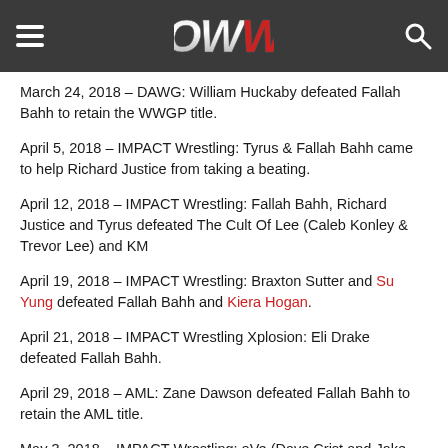OWW navigation header
March 24, 2018 – DAWG: William Huckaby defeated Fallah Bahh to retain the WWGP title.
April 5, 2018 – IMPACT Wrestling: Tyrus & Fallah Bahh came to help Richard Justice from taking a beating.
April 12, 2018 – IMPACT Wrestling: Fallah Bahh, Richard Justice and Tyrus defeated The Cult Of Lee (Caleb Konley & Trevor Lee) and KM
April 19, 2018 – IMPACT Wrestling: Braxton Sutter and Su Yung defeated Fallah Bahh and Kiera Hogan.
April 21, 2018 – IMPACT Wrestling Xplosion: Eli Drake defeated Fallah Bahh.
April 29, 2018 – AML: Zane Dawson defeated Fallah Bahh to retain the AML title.
May 3, 2018 – IMPACT Wrestling: oVe (Dave Crist and Jake Crist) defeated Fallah Bahh and KM